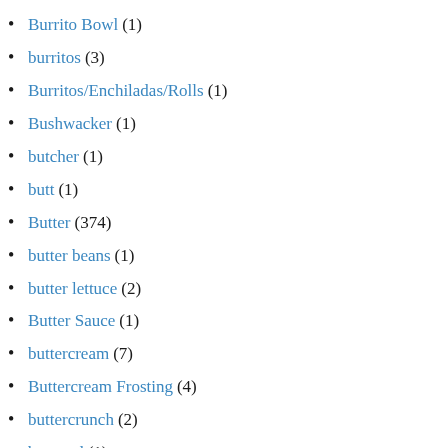Burrito Bowl (1)
burritos (3)
Burritos/Enchiladas/Rolls (1)
Bushwacker (1)
butcher (1)
butt (1)
Butter (374)
butter beans (1)
butter lettuce (2)
Butter Sauce (1)
buttercream (7)
Buttercream Frosting (4)
buttercrunch (2)
buttered (1)
Buttermilk (44)
buttermilk cake (1)